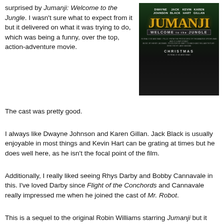surprised by Jumanji: Welcome to the Jungle. I wasn't sure what to expect from it but it delivered on what it was trying to do, which was being a funny, over the top, action-adventure movie.
[Figure (photo): Movie poster for Jumanji: Welcome to the Jungle featuring Dwayne Johnson, Jack Black, Kevin Hart, Karen Gillan. Dark jungle background with large gold JUMANJI title text and 'Welcome to the Jungle' subtitle. Christmas release date shown at bottom.]
The cast was pretty good.
I always like Dwayne Johnson and Karen Gillan. Jack Black is usually enjoyable in most things and Kevin Hart can be grating at times but he does well here, as he isn't the focal point of the film.
Additionally, I really liked seeing Rhys Darby and Bobby Cannavale in this. I've loved Darby since Flight of the Conchords and Cannavale really impressed me when he joined the cast of Mr. Robot.
This is a sequel to the original Robin Williams starring Jumanji but it takes the concept and kind of modernizes it by making it a video game instead of a board game. Here, four teens are sucked into the game and they have to play out the game in a real-life simulation as their avatars, all of which are very different from their real personalities.
It's a fun, cute movie where the teens are challenged by their situation, their avatars' roles and having to work together to survive and free themselves from